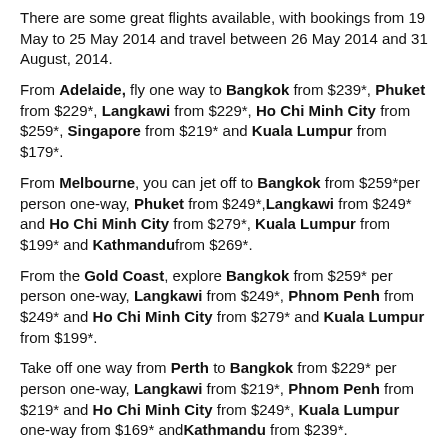There are some great flights available, with bookings from 19 May to 25 May 2014 and travel between 26 May 2014 and 31 August, 2014.
From Adelaide, fly one way to Bangkok from $239*, Phuket from $229*, Langkawi from $229*, Ho Chi Minh City from $259*, Singapore from $219* and Kuala Lumpur from $179*.
From Melbourne, you can jet off to Bangkok from $259*per person one-way, Phuket from $249*, Langkawi from $249* and Ho Chi Minh City from $279*, Kuala Lumpur from $199* and Kathmandufrom $269*.
From the Gold Coast, explore Bangkok from $259* per person one-way, Langkawi from $249*, Phnom Penh from $249* and Ho Chi Minh City from $279* and Kuala Lumpur from $199*.
Take off one way from Perth to Bangkok from $229* per person one-way, Langkawi from $219*, Phnom Penh from $219* and Ho Chi Minh City from $249*, Kuala Lumpur one-way from $169* and Kathmandu from $239*.